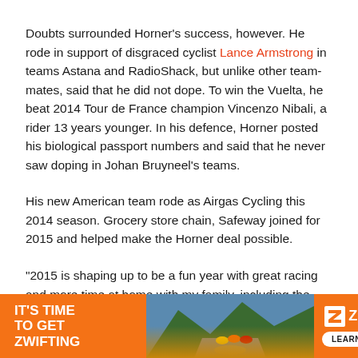Doubts surrounded Horner's success, however. He rode in support of disgraced cyclist Lance Armstrong in teams Astana and RadioShack, but unlike other team-mates, said that he did not dope. To win the Vuelta, he beat 2014 Tour de France champion Vincenzo Nibali, a rider 13 years younger. In his defence, Horner posted his biological passport numbers and said that he never saw doping in Johan Bruyneel's teams.
His new American team rode as Airgas Cycling this 2014 season. Grocery store chain, Safeway joined for 2015 and helped make the Horner deal possible.
"2015 is shaping up to be a fun year with great racing and more time at home with my family, including the new baby we have on the way in January," Horner added. "I can't
[Figure (other): Zwift advertisement banner with orange background, text IT'S TIME TO GET ZWIFTING on left, cycling image in center, and Zwift logo with LEARN MORE button on right]